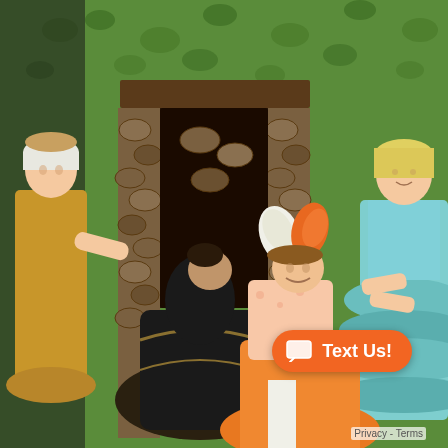[Figure (photo): A theatrical stage performance scene showing children in costumes resembling Cinderella. On the left, a girl in a yellow/mustard dress and white bonnet leans against a stone fireplace prop. In the center, a figure in black kneels and appears to be placing a shoe on another child wearing an orange ball gown with feathered hat accessories (white and orange feathers). On the right, another girl stands with arms crossed wearing a teal/light blue ruffled dress. The background has a green leaf-patterned backdrop.]
Text Us!
Privacy - Terms